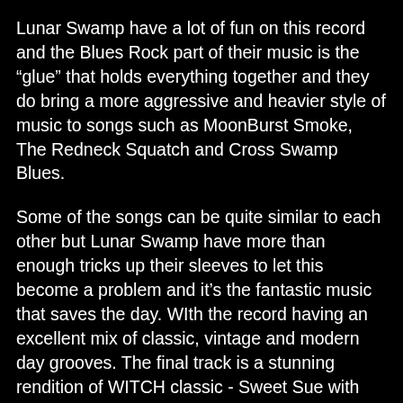Lunar Swamp have a lot of fun on this record and the Blues Rock part of their music is the “glue” that holds everything together and they do bring a more aggressive and heavier style of music to songs such as MoonBurst Smoke, The Redneck Squatch and Cross Swamp Blues.
Some of the songs can be quite similar to each other but Lunar Swamp have more than enough tricks up their sleeves to let this become a problem and it’s the fantastic music that saves the day. WIth the record having an excellent mix of classic, vintage and modern day grooves. The final track is a stunning rendition of WITCH classic - Sweet Sue with Lunar Swamp not veering far from the original but it works and leaves the album on an exciting DOOM METAL based finish.
Lunar Swamp debut album is a seedy and entertaining ride into the more swampier side of Doom/Stoner Metal and it’s one we don’t really hear much these days and lets hope Lunar Swamp will be around for a long time to come and release high quality